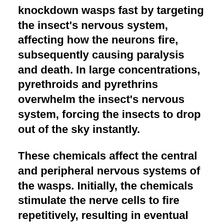knockdown wasps fast by targeting the insect's nervous system, affecting how the neurons fire, subsequently causing paralysis and death. In large concentrations, pyrethroids and pyrethrins overwhelm the insect's nervous system, forcing the insects to drop out of the sky instantly.
These chemicals affect the central and peripheral nervous systems of the wasps. Initially, the chemicals stimulate the nerve cells to fire repetitively, resulting in eventual paralysis. The pyrethroids cause modification of the Na+ channels, holding the nerves open, and impeding the membranes' potential, hence